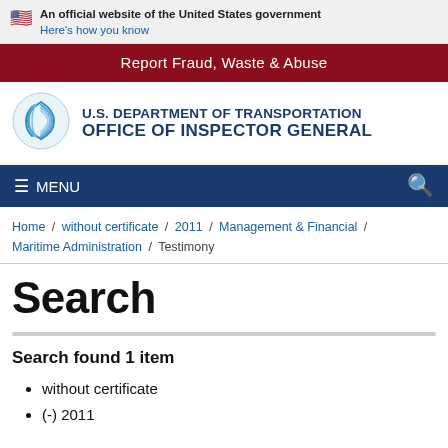An official website of the United States government Here's how you know
Report Fraud, Waste & Abuse
[Figure (logo): U.S. Department of Transportation Office of Inspector General logo with circular blue swirl emblem]
U.S. DEPARTMENT OF TRANSPORTATION OFFICE OF INSPECTOR GENERAL
≡ MENU
Home / without certificate / 2011 / Management & Financial / Maritime Administration / Testimony
Search
Search found 1 item
without certificate
(-) 2011